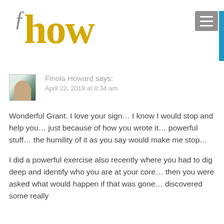how
Finola Howard says: April 22, 2019 at 8:34 am
Wonderful Grant. I love your sign… I know I would stop and help you… just because of how you wrote it… powerful stuff… the humility of it as you say would make me stop…
I did a powerful exercise also recently where you had to dig deep and identify who you are at your core… then you were asked what would happen if that was gone… discovered some really